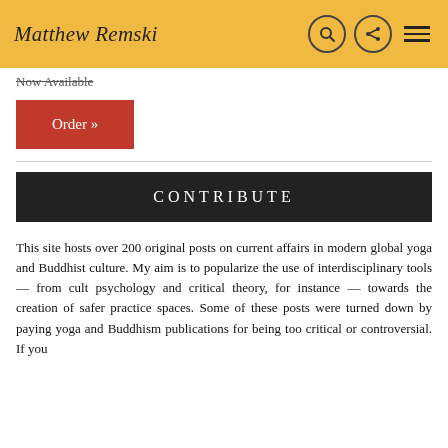Matthew Remski
Now Available
Order »
CONTRIBUTE
This site hosts over 200 original posts on current affairs in modern global yoga and Buddhist culture. My aim is to popularize the use of interdisciplinary tools — from cult psychology and critical theory, for instance — towards the creation of safer practice spaces. Some of these posts were turned down by paying yoga and Buddhism publications for being too critical or controversial. If you